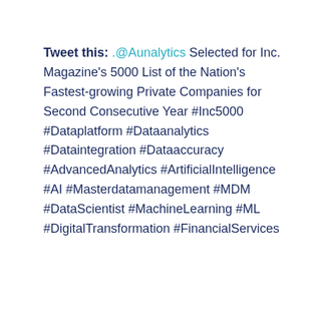Tweet this: .@Aunalytics Selected for Inc. Magazine's 5000 List of the Nation's Fastest-growing Private Companies for Second Consecutive Year #Inc5000 #Dataplatform #Dataanalytics #Dataintegration #Dataaccuracy #AdvancedAnalytics #ArtificialIntelligence #AI #Masterdatamanagement #MDM #DataScientist #MachineLearning #ML #DigitalTransformation #FinancialServices